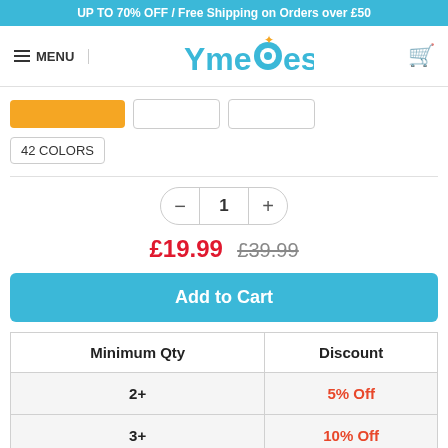UP TO 70% OFF / Free Shipping on Orders over £50
[Figure (logo): YmeBest logo with star and shopping cart icon, with MENU hamburger button]
42 COLORS
1
£19.99  £39.99
Add to Cart
| Minimum Qty | Discount |
| --- | --- |
| 2+ | 5% Off |
| 3+ | 10% Off |
| 4+ | 15% Off |